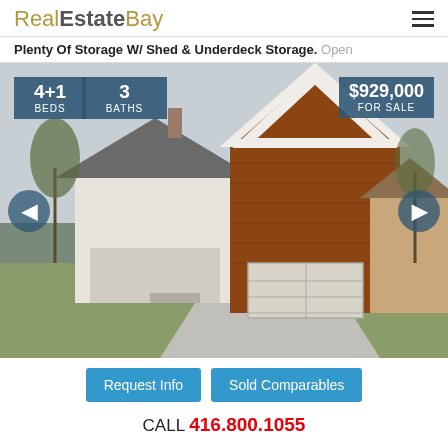RealEstateBay
Plenty Of Storage W/ Shed & Underdeck Storage. Open
[Figure (photo): Exterior photo of a two-storey brick and white house with steep gabled roof, single-car garage, front porch, and concrete driveway. Property overlays show: 4+1 BEDS, 3 BATHS, $929,000 FOR SALE.]
Request Info   Sold Comparables
CALL 416.800.1055